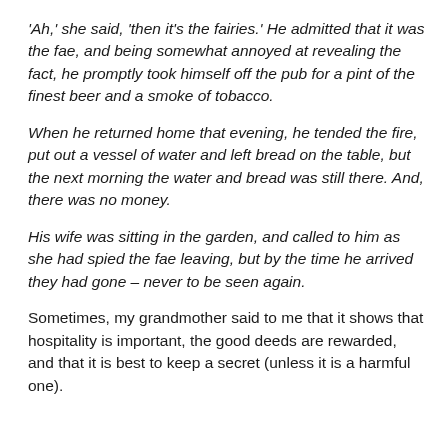'Ah,' she said, 'then it's the fairies.' He admitted that it was the fae, and being somewhat annoyed at revealing the fact, he promptly took himself off the pub for a pint of the finest beer and a smoke of tobacco.
When he returned home that evening, he tended the fire, put out a vessel of water and left bread on the table, but the next morning the water and bread was still there. And, there was no money.
His wife was sitting in the garden, and called to him as she had spied the fae leaving, but by the time he arrived they had gone – never to be seen again.
Sometimes, my grandmother said to me that it shows that hospitality is important, the good deeds are rewarded, and that it is best to keep a secret (unless it is a harmful one).